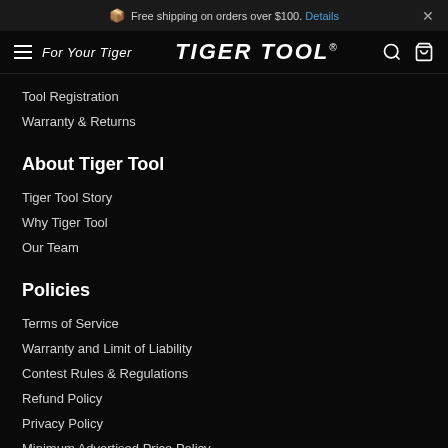Free shipping on orders over $100. Details
For Your Tiger TIGER TOOL
Tool Registration
Warranty & Returns
About Tiger Tool
Tiger Tool Story
Why Tiger Tool
Our Team
Policies
Terms of Service
Warranty and Limit of Liability
Contest Rules & Regulations
Refund Policy
Privacy Policy
Minimum Advertised Price Policy
Contest Rules & Regulations